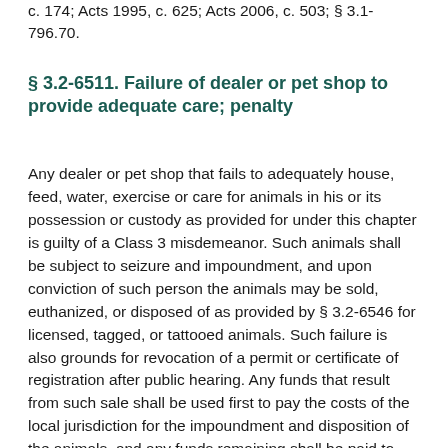c. 174; Acts 1995, c. 625; Acts 2006, c. 503; § 3.1-796.70.
§ 3.2-6511. Failure of dealer or pet shop to provide adequate care; penalty
Any dealer or pet shop that fails to adequately house, feed, water, exercise or care for animals in his or its possession or custody as provided for under this chapter is guilty of a Class 3 misdemeanor. Such animals shall be subject to seizure and impoundment, and upon conviction of such person the animals may be sold, euthanized, or disposed of as provided by § 3.2-6546 for licensed, tagged, or tattooed animals. Such failure is also grounds for revocation of a permit or certificate of registration after public hearing. Any funds that result from such sale shall be used first to pay the costs of the local jurisdiction for the impoundment and disposition of the animals, and any funds remaining shall be paid to the owner,